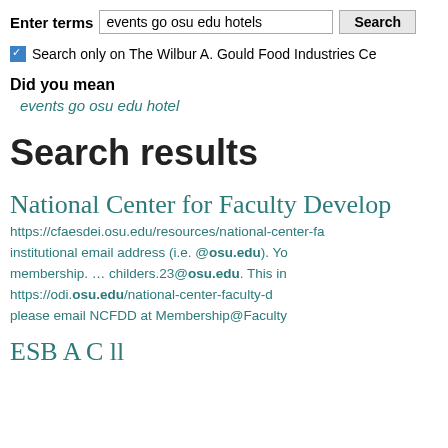Enter terms  events go osu edu hotels  Search
Search only on The Wilbur A. Gould Food Industries Ce…
Did you mean
events go osu edu hotel
Search results
National Center for Faculty Develop…
https://cfaesdei.osu.edu/resources/national-center-fa… institutional email address (i.e. @osu.edu). Yo… membership. … childers.23@osu.edu. This in… https://odi.osu.edu/national-center-faculty-d… please email NCFDD at Membership@Faculty…
ESB A… C ll…